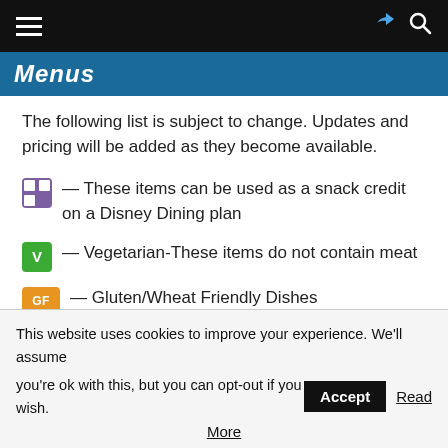Menus
The following list is subject to change. Updates and pricing will be added as they become available.
[snack credit icon] — These items can be used as a snack credit on a Disney Dining plan
[V icon] — Vegetarian-These items do not contain meat
[GF icon] — Gluten/Wheat Friendly Dishes
This website uses cookies to improve your experience. We'll assume you're ok with this, but you can opt-out if you wish. Accept Read More